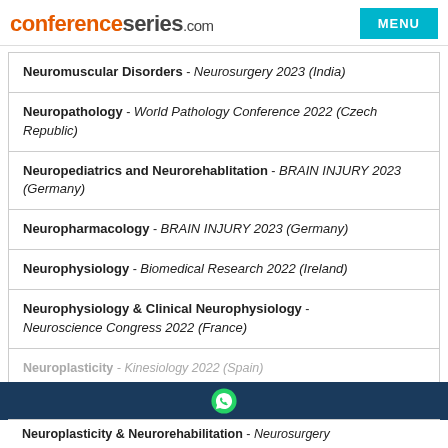conferenceseries.com
Neuromuscular Disorders - Neurosurgery 2023 (India)
Neuropathology - World Pathology Conference 2022 (Czech Republic)
Neuropediatrics and Neurorehablitation - BRAIN INJURY 2023 (Germany)
Neuropharmacology - BRAIN INJURY 2023 (Germany)
Neurophysiology - Biomedical Research 2022 (Ireland)
Neurophysiology & Clinical Neurophysiology - Neuroscience Congress 2022 (France)
Neuroplasticity - Kinesiology 2022 (Spain)
Neuroplasticity & Neurorehabilitation - Neurosurgery